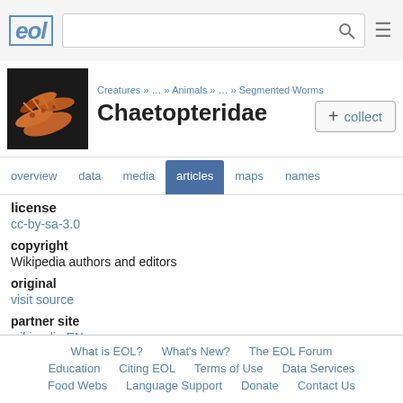EOL - Chaetopteridae articles page header with logo, search bar, and hamburger menu
[Figure (photo): Close-up photo of a Chaetopteridae worm specimen against a dark background, showing orange/pink segmented body]
Creatures » … » Animals » … » Segmented Worms
Chaetopteridae
license
cc-by-sa-3.0
copyright
Wikipedia authors and editors
original
visit source
partner site
wikipedia EN
What is EOL?  What's New?  The EOL Forum  Education  Citing EOL  Terms of Use  Data Services  Food Webs  Language Support  Donate  Contact Us